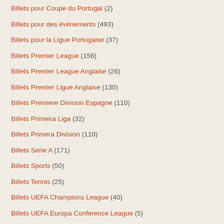Billets pour Coupe du Portugal (2)
Billets pour des événements (493)
Billets pour la Ligue Portugaise (37)
Billets Premier League (156)
Billets Premier League Anglaise (26)
Billets Premier Ligue Anglaise (130)
Billets Premiere Division Espagne (110)
Billets Primeira Liga (32)
Billets Primera Division (110)
Billets Serie A (171)
Billets Sports (50)
Billets Tennis (25)
Billets UEFA Champions League (40)
Billets UEFA Europa Conference League (5)
Billets UEFA Europa League (24)